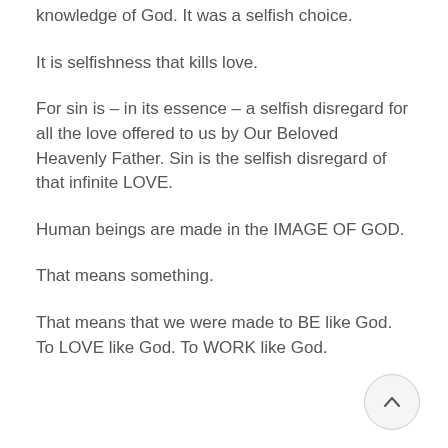knowledge of God. It was a selfish choice.
It is selfishness that kills love.
For sin is – in its essence – a selfish disregard for all the love offered to us by Our Beloved Heavenly Father. Sin is the selfish disregard of that infinite LOVE.
Human beings are made in the IMAGE OF GOD.
That means something.
That means that we were made to BE like God. To LOVE like God. To WORK like God.